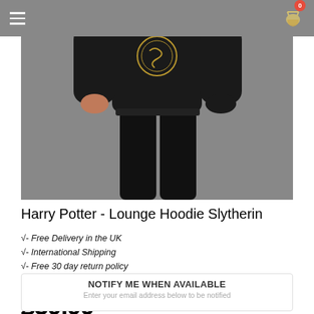[Figure (photo): Person wearing black Harry Potter Slytherin hoodie and matching black lounge pants, shown from torso down. The hoodie has a gold Slytherin house crest on the chest. Navigation bar with hamburger menu and cart icon (showing 0) overlaid at top.]
Harry Potter - Lounge Hoodie Slytherin
√- Free Delivery in the UK
√- International Shipping
√- Free 30 day return policy
AVAILABILITY: OUT OF STOCK
£39.99
NOTIFY ME WHEN AVAILABLE
Enter your email address below to be notified